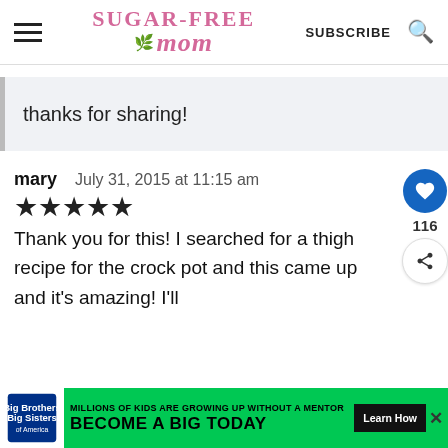Sugar-Free Mom — SUBSCRIBE
thanks for sharing!
mary  July 31, 2015 at 11:15 am
★★★★★
Thank you for this! I searched for a thigh recipe for the crock pot and this came up and it's amazing! I'll
[Figure (screenshot): Big Brothers Big Sisters advertisement: MILLIONS OF KIDS ARE GROWING UP WITHOUT A MENTOR. BECOME A BIG TODAY. Learn How.]